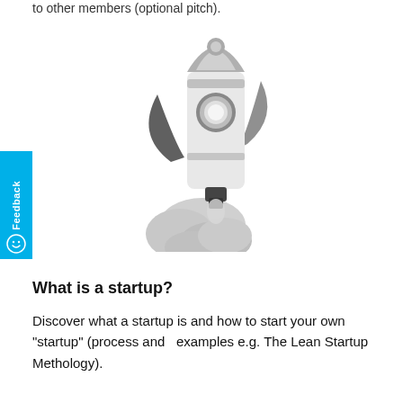to other members (optional pitch).
[Figure (illustration): A rocket launching upward with exhaust clouds beneath it, rendered in grayscale tones.]
What is a startup?
Discover what a startup is and how to start your own "startup" (process and  examples e.g. The Lean Startup Methology).